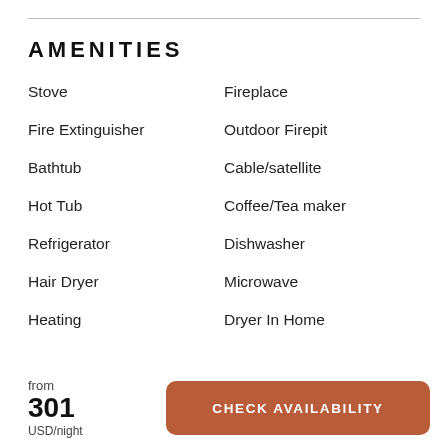AMENITIES
Stove
Fireplace
Fire Extinguisher
Outdoor Firepit
Bathtub
Cable/satellite
Hot Tub
Coffee/Tea maker
Refrigerator
Dishwasher
Hair Dryer
Microwave
Heating
Dryer In Home
from
301
USD/night
CHECK AVAILABILITY